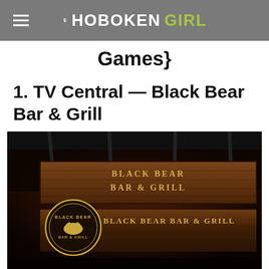THE HOBOKEN GIRL
Games}
1. TV Central — Black Bear Bar & Grill
[Figure (photo): Exterior photo of Black Bear Bar & Grill showing wooden signage with the restaurant name and logo]